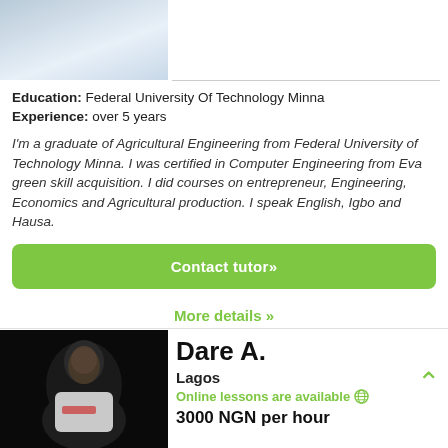[Figure (photo): Partial photo of a person in white background, upper body, top portion cropped]
Education: Federal University Of Technology Minna
Experience: over 5 years
I'm a graduate of Agricultural Engineering from Federal University of Technology Minna. I was certified in Computer Engineering from Eva green skill acquisition. I did courses on entrepreneur, Engineering, Economics and Agricultural production. I speak English, Igbo and Hausa.
Contact tutor»
More details »
[Figure (photo): Photo of Dare A., a man in a white t-shirt with 'semicolon' logo, dark background]
Dare A.
Lagos
Online lessons are available 🌐
3000 NGN per hour